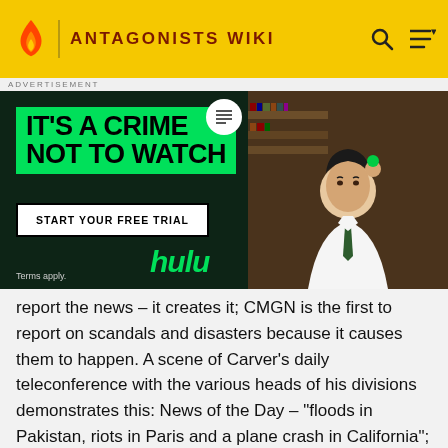ANTAGONISTS WIKI
[Figure (screenshot): Hulu advertisement banner with dark green background. Large green text reads 'IT'S A CRIME NOT TO WATCH'. White button: 'START YOUR FREE TRIAL'. Hulu logo in green. Photo of young man in white shirt and green tie holding a green token. Text: 'Terms apply.']
report the news – it creates it; CMGN is the first to report on scandals and disasters because it causes them to happen. A scene of Carver's daily teleconference with the various heads of his divisions demonstrates this: News of the Day – "floods in Pakistan, riots in Paris and a plane crash in California"; Software – all current releases of CMG's software are loaded with bugs that will force consumers to upgrade for years, etc. To boost his viewership, he instructs his